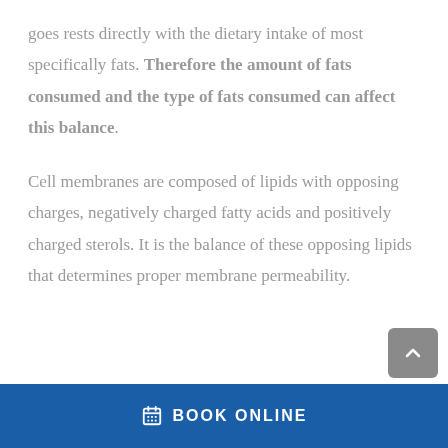goes rests directly with the dietary intake of most specifically fats. Therefore the amount of fats consumed and the type of fats consumed can affect this balance.
Cell membranes are composed of lipids with opposing charges, negatively charged fatty acids and positively charged sterols. It is the balance of these opposing lipids that determines proper membrane permeability.
BOOK ONLINE